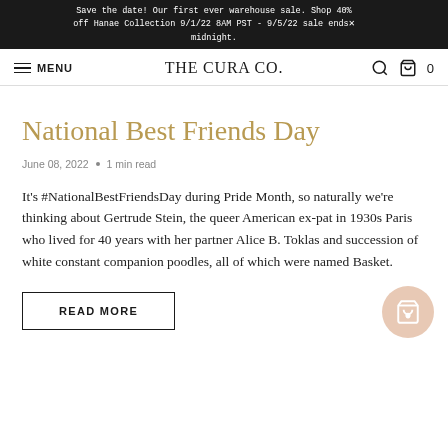Save the date! Our first ever warehouse sale. Shop 40% off Hanae Collection 9/1/22 8AM PST - 9/5/22 sale ends midnight.
MENU   THE CURA CO.   🔍  🛒 0
National Best Friends Day
June 08, 2022  •  1 min read
It's #NationalBestFriendsDay during Pride Month, so naturally we're thinking about Gertrude Stein, the queer American ex-pat in 1930s Paris who lived for 40 years with her partner Alice B. Toklas and succession of white constant companion poodles, all of which were named Basket.
READ MORE